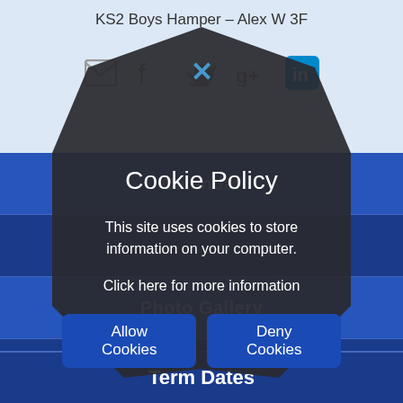KS2 Boys Hamper – Alex W 3F
[Figure (screenshot): Share icons: email, Facebook, Twitter, Google+, LinkedIn (active/highlighted)]
Calendar
Photo Gallery
Latest News
Term Dates
Cookie Policy
This site uses cookies to store information on your computer.
Click here for more information
Allow Cookies
Deny Cookies